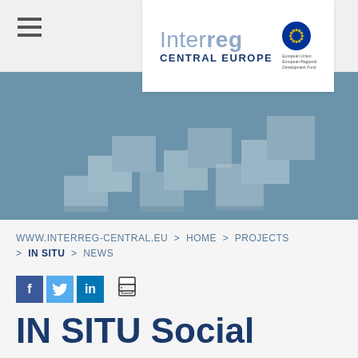[Figure (logo): Interreg Central Europe logo with EU flag emblem]
[Figure (photo): Blue-grey hero banner with 3D stepping paper/block shapes arranged in a staircase pattern]
WWW.INTERREG-CENTRAL.EU > HOME > PROJECTS > IN SITU > NEWS
[Figure (infographic): Social media share icons: Facebook (f), Twitter (bird), LinkedIn (in), and a printer icon]
IN SITU Social